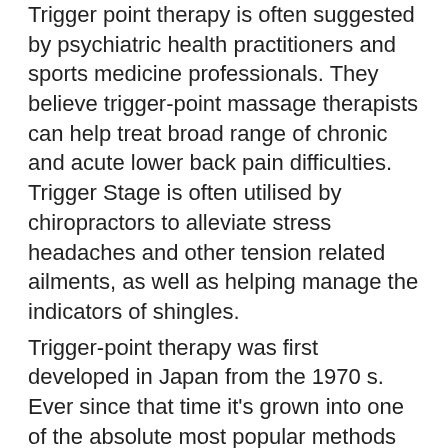Trigger point therapy is often suggested by psychiatric health practitioners and sports medicine professionals. They believe trigger-point massage therapists can help treat broad range of chronic and acute lower back pain difficulties. Trigger Stage is often utilised by chiropractors to alleviate stress headaches and other tension related ailments, as well as helping manage the indicators of shingles.
Trigger-point therapy was first developed in Japan from the 1970 s. Ever since that time it's grown into one of the absolute most popular methods from the world since it's in a position to provide rapid [redacted] relief in chronic discomfort without even resorting to operation or meds. Trigger Point massage therapists have the ability to pin point specific areas in the body that could be producing strain. This permits them to get the job done together with muscles, muscles, tendons and ligaments by applying tension where it is most concentrated.